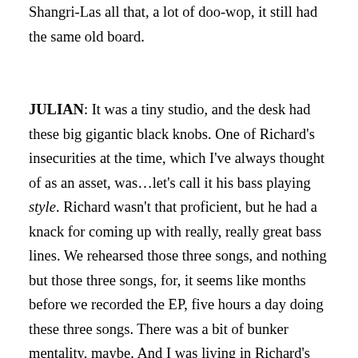Shangri-Las all that, a lot of doo-wop, it still had the same old board.
JULIAN: It was a tiny studio, and the desk had these big gigantic black knobs. One of Richard's insecurities at the time, which I've always thought of as an asset, was…let's call it his bass playing style. Richard wasn't that proficient, but he had a knack for coming up with really, really great bass lines. We rehearsed those three songs, and nothing but those three songs, for, it seems like months before we recorded the EP, five hours a day doing these three songs. There was a bit of bunker mentality, maybe. And I was living in Richard's flat, too – I had come to